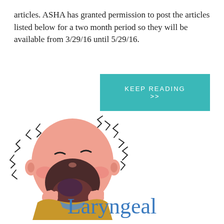articles. ASHA has granted permission to post the articles listed below for a two month period so they will be available from 3/29/16 until 5/29/16.
[Figure (other): Teal/turquoise button with text KEEP READING >>]
[Figure (illustration): Cartoon illustration of a child with mouth wide open screaming, with zigzag lines around the head suggesting loud noise or pain, wearing a yellow-mustard colored outfit]
Laryngeal